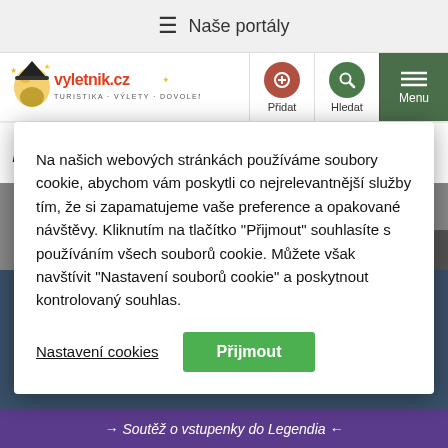≡ Naše portály
[Figure (logo): vyletnik.cz logo - turistika výlety dovolená with cartoon character]
Přidat | Hledat | Menu
Další zajímavá místa v
Na našich webových stránkách používáme soubory cookie, abychom vám poskytli co nejrelevantnější služby tím, že si zapamatujeme vaše preference a opakované návštěvy. Kliknutím na tlačítko "Přijmout" souhlasíte s používáním všech souborů cookie. Můžete však navštívit "Nastavení souborů cookie" a poskytnout kontrolovaný souhlas.
Nastavení cookies | Přijmout
Zavřít reklamu
< Děti a citlivé téma? Knížka pomáhá rodičům otevřít s dětmi citlivé téma pornografie srozumitelným způsobem.
→ Soutěž o vstupenky do Legendia ←